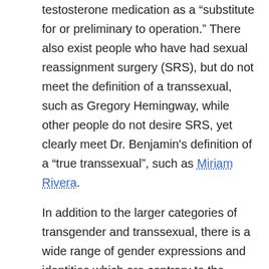testosterone medication as a "substitute for or preliminary to operation." There also exist people who have had sexual reassignment surgery (SRS), but do not meet the definition of a transsexual, such as Gregory Hemingway, while other people do not desire SRS, yet clearly meet Dr. Benjamin's definition of a "true transsexual", such as Miriam Rivera.
In addition to the larger categories of transgender and transsexual, there is a wide range of gender expressions and identities which are contrary to the mainstream male-female binary. These include Cross dressers, drag queens, drag kings, transvestites, genderqueer, etc.
Some transsexuals also take issue with the term